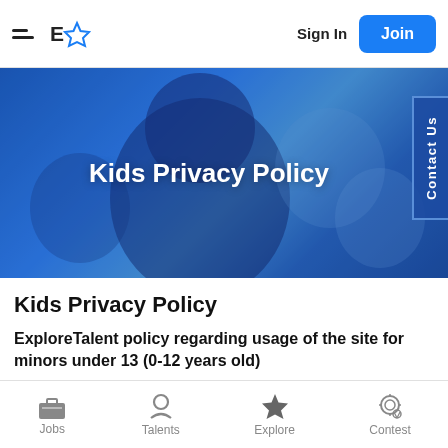ExploreTalent — Sign In | Join
[Figure (screenshot): Hero banner with blue background showing Kids Privacy Policy title and Contact Us tab on the right]
Kids Privacy Policy
ExploreTalent policy regarding usage of the site for minors under 13 (0-12 years old)
Jobs | Talents | Explore | Contest